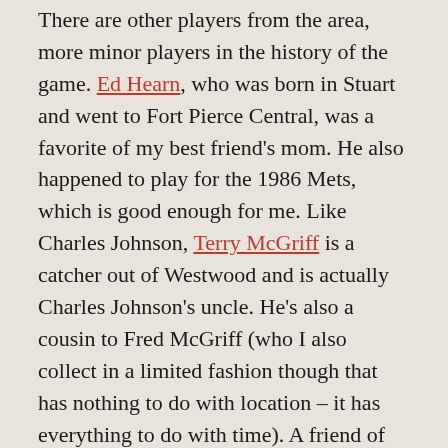There are other players from the area, more minor players in the history of the game. Ed Hearn, who was born in Stuart and went to Fort Pierce Central, was a favorite of my best friend's mom. He also happened to play for the 1986 Mets, which is good enough for me. Like Charles Johnson, Terry McGriff is a catcher out of Westwood and is actually Charles Johnson's uncle. He's also a cousin to Fred McGriff (who I also collect in a limited fashion though that has nothing to do with location – it has everything to do with time). A friend of mine in elementary school got Terry McGriff's autograph when Terry visited my friend's elementary school. Eventually that card ended up in my collection through a trade of some sort.